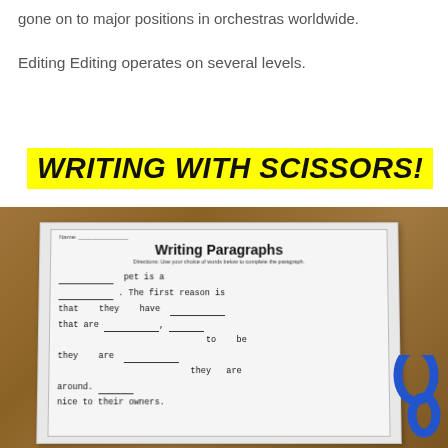gone on to major positions in orchestras worldwide.
Editing Editing operates on several levels.
WRITING WITH SCISSORS!
[Figure (photo): A photograph of a 'Writing Paragraphs' worksheet on a wooden desk, partially filled with blanks. Text on worksheet reads: Writing Paragraphs, Directions: Use your choice of words below to complete the paragraph. pet is a. The first reason is that they have that are to be they are they are around. nice to their owners. Blue scissors handle visible at bottom right.]